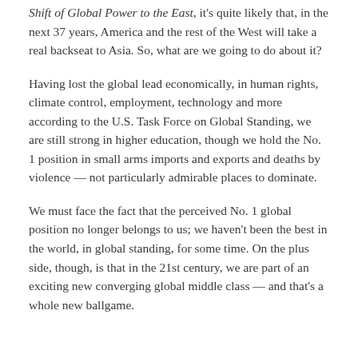Shift of Global Power to the East, it's quite likely that, in the next 37 years, America and the rest of the West will take a real backseat to Asia. So, what are we going to do about it?
Having lost the global lead economically, in human rights, climate control, employment, technology and more according to the U.S. Task Force on Global Standing, we are still strong in higher education, though we hold the No. 1 position in small arms imports and exports and deaths by violence — not particularly admirable places to dominate.
We must face the fact that the perceived No. 1 global position no longer belongs to us; we haven't been the best in the world, in global standing, for some time. On the plus side, though, is that in the 21st century, we are part of an exciting new converging global middle class — and that's a whole new ballgame.